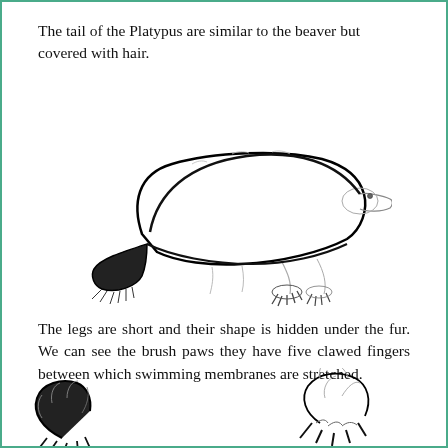The tail of the Platypus are similar to the beaver but covered with hair.
[Figure (illustration): Pencil sketch of a platypus in side profile, showing the flat beaver-like tail covered with hair, short legs with brush paws, and a duck-like bill. The body outline is drawn with bold dark strokes, with lighter sketching for details.]
The legs are short and their shape is hidden under the fur. We can see the brush paws they have five clawed fingers between which swimming membranes are stretched.
[Figure (illustration): Two pencil sketches of platypus paws/claws shown in close-up detail at the bottom of the page, showing the clawed fingers and swimming membranes.]